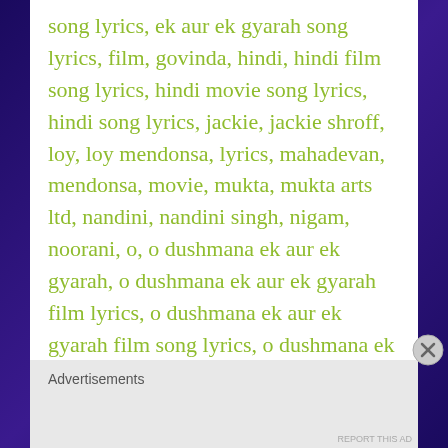song lyrics, ek aur ek gyarah song lyrics, film, govinda, hindi, hindi film song lyrics, hindi movie song lyrics, hindi song lyrics, jackie, jackie shroff, loy, loy mendonsa, lyrics, mahadevan, mendonsa, movie, mukta, mukta arts ltd, nandini, nandini singh, nigam, noorani, o, o dushmana ek aur ek gyarah, o dushmana ek aur ek gyarah film lyrics, o dushmana ek aur ek gyarah film song lyrics, o dushmana ek aur ek gyarah hindi film song lyrics, o dushmana ek aur ek gyarah hindi movie lyrics, o dushmana ek aur ek gyarah hindi movie song lyrics, o dushmana ek aur ek gyarah lyrics, o dushmana ek aur ek gyarah movie lyrics, o dushmana ek aur ek gyarah movie song lyrics, o dushmana ek aur ek gyarah song lyrics, o
Advertisements